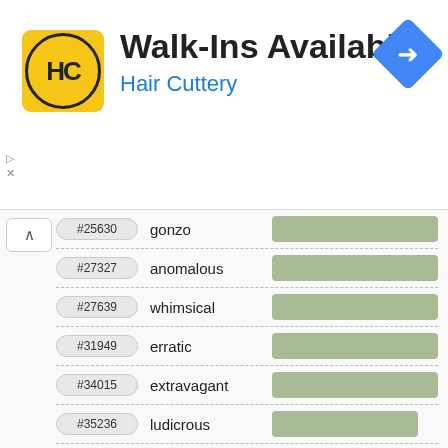[Figure (other): Hair Cuttery advertisement banner with logo, 'Walk-Ins Available' title, blue navigation icon, and ad controls]
#25630 gonzo
#27327 anomalous
#27639 whimsical
#31949 erratic
#34015 extravagant
#35236 ludicrous
#36473 comical
#36903 grotesque